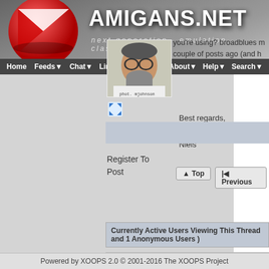AMIGANS.NET - next generation · emulation · classic
Home | Feeds | Chat | Links | Hosted | About | Help | Search
you're using? broadblues made a couple of posts ago (and h
Best regards,

Niels
[Figure (photo): Profile photo of a middle-aged man with glasses and a gray beard, wearing a white shirt. Caption: phot. mjohnson]
[Figure (other): Blue expand/fullscreen icon]
Register To Post
Top
Previous
Currently Active Users Viewing This Thread and 1 Anonymous Users )
Powered by XOOPS 2.0 © 2001-2016 The XOOPS Project